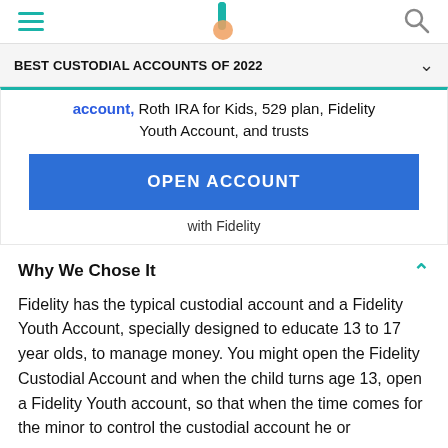BEST CUSTODIAL ACCOUNTS OF 2022
account, Roth IRA for Kids, 529 plan, Fidelity Youth Account, and trusts
OPEN ACCOUNT
with Fidelity
Why We Chose It
Fidelity has the typical custodial account and a Fidelity Youth Account, specially designed to educate 13 to 17 year olds, to manage money. You might open the Fidelity Custodial Account and when the child turns age 13, open a Fidelity Youth account, so that when the time comes for the minor to control the custodial account he or